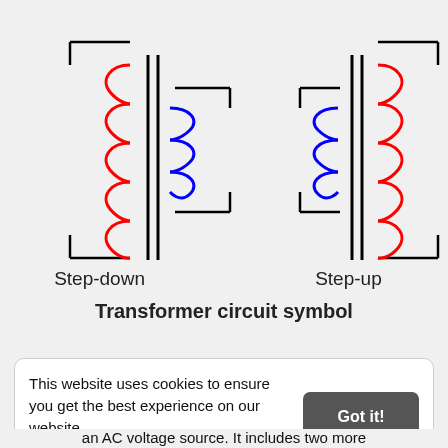[Figure (circuit-diagram): Two transformer circuit symbols side by side. Left: Step-down transformer with larger red coil on left (primary) and smaller blue coil on right (secondary), two vertical lines representing the core between them, connected to terminal lines at top and bottom. Right: Step-up transformer with smaller blue coil on left (primary) and larger red coil on right (secondary), two vertical lines for core, connected to terminal lines at top and bottom.]
Step-down                Step-up

Transformer circuit symbol
This website uses cookies to ensure you get the best experience on our website. Learn more
an AC voltage source. It includes two more